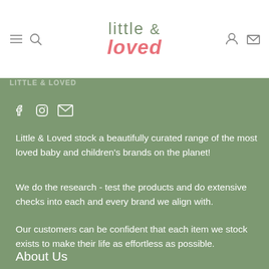little & loved
Little & Loved stock a beautifully curated range of the most loved baby and children's brands on the planet!
We do the research - test the products and do extensive checks into each and every brand we align with.
Our customers can be confident that each item we stock exists to make their life as effortless as possible.
About Us